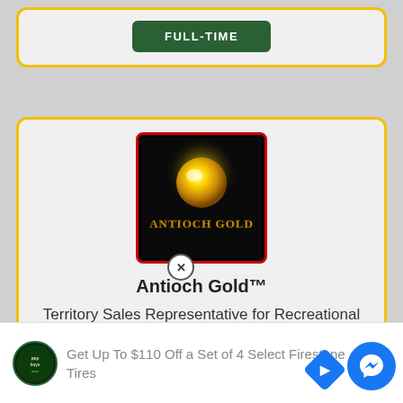[Figure (other): Top card partial view showing FULL-TIME green button]
[Figure (logo): Antioch Gold logo - dark background with red border, golden sphere and text]
Antioch Gold™
Territory Sales Representative for Recreational Cannabis Farm in Eugene Oregon
[Figure (other): FULL-TIME green button]
[Figure (other): Advertisement banner: Pep Boys logo, text: Get Up To $110 Off a Set of 4 Select Firestone Tires]
[Figure (other): Facebook Messenger floating button (blue circle)]
[Figure (other): Navigation arrow icon (blue diamond shape)]